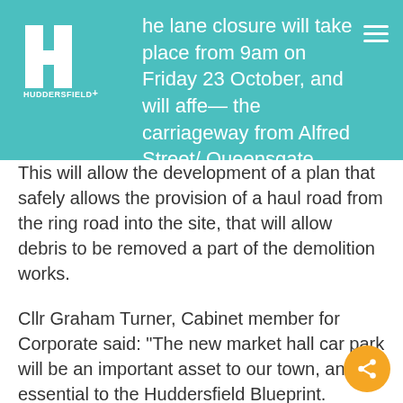The lane closure will take place from 9am on Friday 23 October, and will affect the carriageway from Alfred Street/ Queensgate Junction to the bus stop at Queensgate Market.
This will allow the development of a plan that safely allows the provision of a haul road from the ring road into the site, that will allow debris to be removed a part of the demolition works.
Cllr Graham Turner, Cabinet member for Corporate said: “The new market hall car park will be an important asset to our town, and essential to the Huddersfield Blueprint. However we know that the demolition works will impact on the